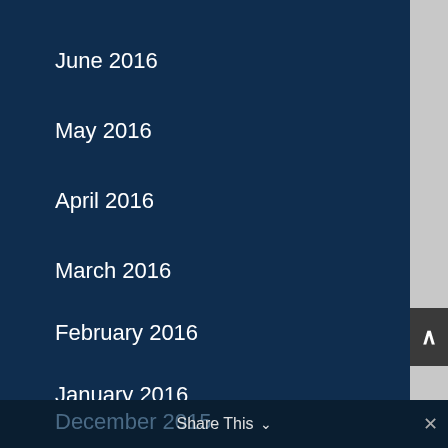June 2016
May 2016
April 2016
March 2016
February 2016
January 2016
December 2015  Share This  ✕